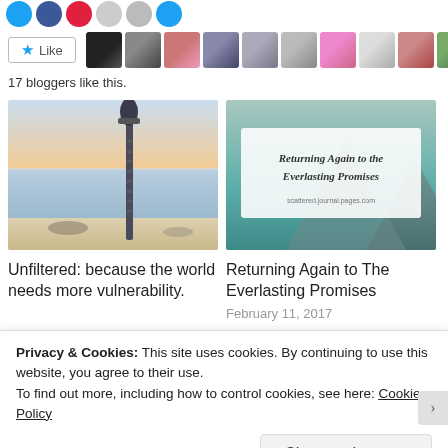[Figure (screenshot): Social sharing buttons row: blue Twitter circle, blue Facebook circle, red Pinterest circle, gray email circle, gray bookmark circle, teal more circle]
[Figure (screenshot): Like button with blue star icon and 10 blogger avatar thumbnails to the right]
17 bloggers like this.
[Figure (photo): Beach scene with a tall lamp post or pole in the foreground, ocean and sunset sky in the background]
[Figure (illustration): Text-overlay blog card with script font reading 'Returning Again to The Everlasting Promises' and URL 'scattered.journal.pages.com' over a teal mountain lake background]
Unfiltered: because the world needs more vulnerability.
Returning Again to The Everlasting Promises
February 11, 2017
Privacy & Cookies: This site uses cookies. By continuing to use this website, you agree to their use.
To find out more, including how to control cookies, see here: Cookie Policy
Close and accept